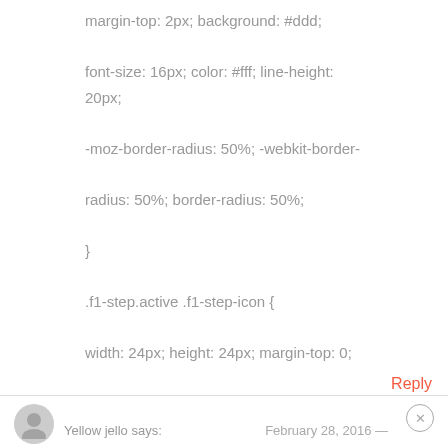margin-top: 2px; background: #ddd;
font-size: 16px; color: #fff; line-height: 20px;
-moz-border-radius: 50%; -webkit-border-radius: 50%; border-radius: 50%;
}
.f1-step.active .f1-step-icon {
width: 24px; height: 24px; margin-top: 0;
background: #f35b3f; font-size: 22px; line-height: 24px;
}
Reply
Yellow jello says:
February 28, 2016